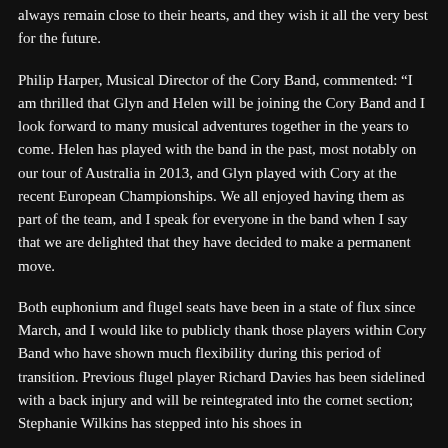always remain close to their hearts, and they wish it all the very best for the future.
Philip Harper, Musical Director of the Cory Band, commented: “I am thrilled that Glyn and Helen will be joining the Cory Band and I look forward to many musical adventures together in the years to come. Helen has played with the band in the past, most notably on our tour of Australia in 2013, and Glyn played with Cory at the recent European Championships. We all enjoyed having them as part of the team, and I speak for everyone in the band when I say that we are delighted that they have decided to make a permanent move.
Both euphonium and flugel seats have been in a state of flux since March, and I would like to publicly thank those players within Cory Band who have shown much flexibility during this period of transition. Previous flugel player Richard Davies has been sidelined with a back injury and will be reintegrated into the cornet section; Stephanie Wilkins has stepped into his shoes in